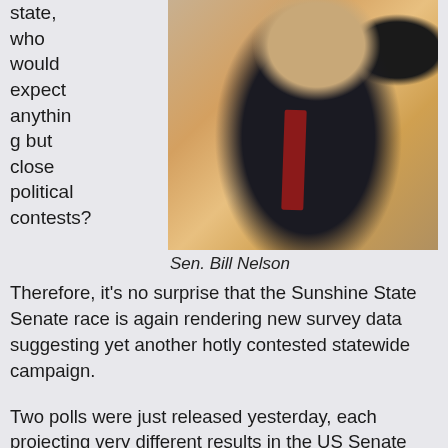state, who would expect anything but close political contests?
[Figure (photo): Photo of Sen. Bill Nelson in a dark suit with red tie, speaking at a microphone outdoors.]
Sen. Bill Nelson
Therefore, it's no surprise that the Sunshine State Senate race is again rendering new survey data suggesting yet another hotly contested statewide campaign.
Two polls were just released yesterday, each projecting very different results in the US Senate contest, which is also nothing new for this race. Much as we saw in the Hawaii Democratic primary, almost every publicly